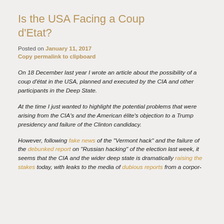Is the USA Facing a Coup d'Etat?
Posted on January 11, 2017
Copy permalink to clipboard
On 18 December last year I wrote an article about the possibility of a coup d'état in the USA, planned and executed by the CIA and other participants in the Deep State.
At the time I just wanted to highlight the potential problems that were arising from the CIA's and the American élite's objection to a Trump presidency and failure of the Clinton candidacy.
However, following fake news of the "Vermont hack" and the failure of the debunked report on "Russian hacking" of the election last week, it seems that the CIA and the wider deep state is dramatically raising the stakes today, with leaks to the media of dubious reports from a corpor-